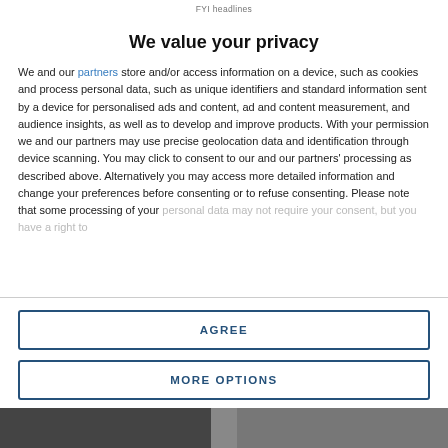FYI headlines
We value your privacy
We and our partners store and/or access information on a device, such as cookies and process personal data, such as unique identifiers and standard information sent by a device for personalised ads and content, ad and content measurement, and audience insights, as well as to develop and improve products. With your permission we and our partners may use precise geolocation data and identification through device scanning. You may click to consent to our and our partners' processing as described above. Alternatively you may access more detailed information and change your preferences before consenting or to refuse consenting. Please note that some processing of your personal data may not require your consent, but you have a right to
AGREE
MORE OPTIONS